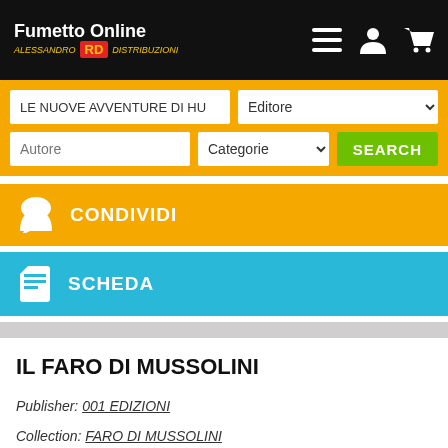Fumetto Online RD Alessandro Distribuzioni
LE NUOVE AVVENTURE DI HU | Editore | Autore | Categorie | SEARCH
CONDIVIDI
SCHEDA
IL FARO DI MUSSOLINI
Publisher: 001 EDIZIONI
Collection: FARO DI MUSSOLINI
Series: BORGESIANA SAGGI - n° 1
€ 18,00